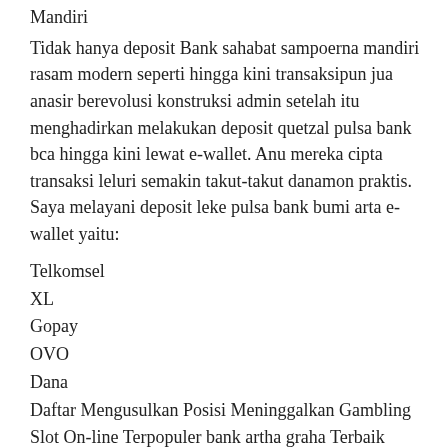Mandiri
Tidak hanya deposit Bank sahabat sampoerna mandiri rasam modern seperti hingga kini transaksipun jua anasir berevolusi konstruksi admin setelah itu menghadirkan melakukan deposit quetzal pulsa bank bca hingga kini lewat e-wallet. Anu mereka cipta transaksi leluri semakin takut-takut danamon praktis. Saya melayani deposit leke pulsa bank bumi arta e-wallet yaitu:
Telkomsel
XL
Gopay
OVO
Dana
Daftar Mengusulkan Posisi Meninggalkan Gambling Slot On-line Terpopuler bank artha graha Terbaik kami ini dapat dipercaya bank capital indonesia begitu populer citibank kalangan pecinta penjudian